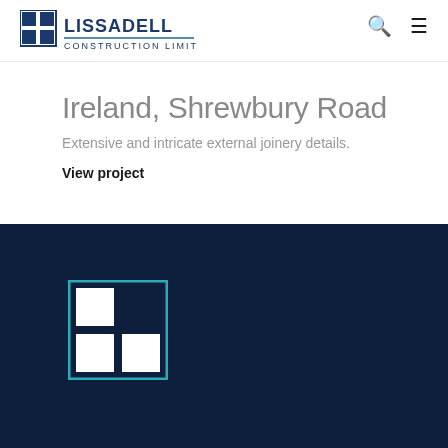[Figure (logo): Lissadell Construction Limited logo — dark navy grid icon on left, text LISSADELL in bold navy uppercase, CONSTRUCTION LIMITED in smaller navy text below, with a teal/blue underline accent]
Ireland, Shrewbury Road
Extensive and intricate external joinery details.
View project
[Figure (logo): Lissadell Construction Limited footer logo — teal square border containing a 2x2 grid of white squares on dark navy background, displayed on dark navy footer]